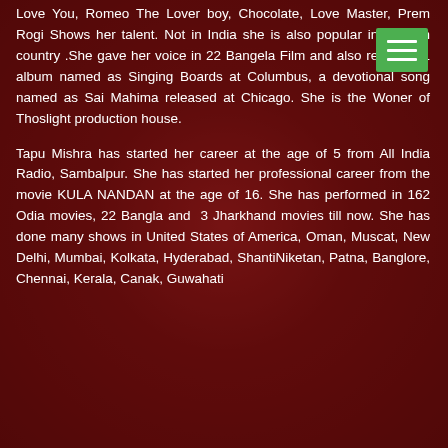Love You, Romeo The Lover boy, Chocolate, Love Master, Prem Rogi Shows her talent. Not in India she is also popular in Foreign country .She gave her voice in 22 Bangela Film and also released 1 album named as Singing Boards at Columbus, a devotional song named as Sai Mahima released at Chicago. She is the Woner of Thoslight production house.
Tapu Mishra has started her career at the age of 5 from All India Radio, Sambalpur. She has started her professional career from the movie KULA NANDAN at the age of 16. She has performed in 162 Odia movies, 22 Bangla and 3 Jharkhand movies till now. She has done many shows in United States of America, Oman, Muscat, New Delhi, Mumbai, Kolkata, Hyderabad, ShantiNiketan, Patna, Banglore, Chennai, Kerala, Canak, Guwahati